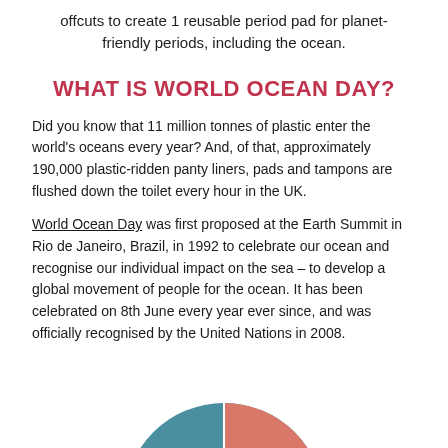offcuts to create 1 reusable period pad for planet-friendly periods, including the ocean.
WHAT IS WORLD OCEAN DAY?
Did you know that 11 million tonnes of plastic enter the world's oceans every year? And, of that, approximately 190,000 plastic-ridden panty liners, pads and tampons are flushed down the toilet every hour in the UK.
World Ocean Day was first proposed at the Earth Summit in Rio de Janeiro, Brazil, in 1992 to celebrate our ocean and recognise our individual impact on the sea – to develop a global movement of people for the ocean. It has been celebrated on 8th June every year ever since, and was officially recognised by the United Nations in 2008.
[Figure (illustration): Partial view of a circular illustration showing teal/blue and salmon/coral colored sections, likely a pie or decorative graphic about ocean topics.]